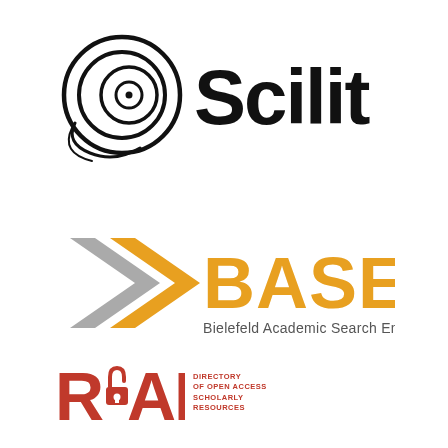[Figure (logo): Scilit logo: concentric spiral circle icon on the left, large bold text 'Scilit' on the right]
[Figure (logo): BASE logo: angular arrow/chevron icon in gray and orange, bold orange text 'BASE', subtitle 'Bielefeld Academic Search Engine']
[Figure (logo): ROAD logo: red stylized 'ROAD' text with open-access lock icon, subtitle 'DIRECTORY OF OPEN ACCESS SCHOLARLY RESOURCES']